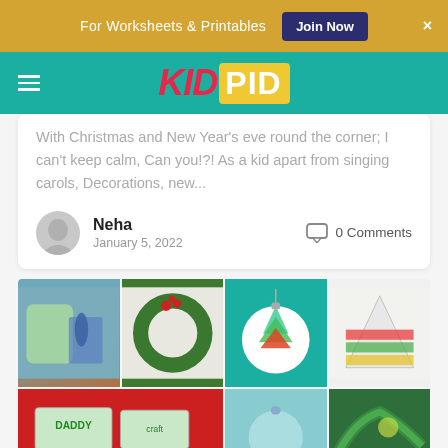For Worksheets & Printables   Join Now   ×
[Figure (logo): KidPid logo with red italic KID and yellow box PID on teal nav bar]
With Christmas and New Year's eve round the corner; I can't keep calm, Can you!?! As a kid apart from singing carols, Decorations, new...
Neha
January 5, 2022
0 Comments
[Figure (photo): Grid of Christmas craft images: hand with scissors, holly wreath, Christmas tree ornament, striped paper tree, DADDY nameplate craft, blue ornament, pine branch with ornament]